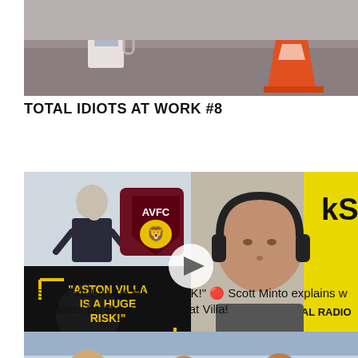[Figure (photo): Partial photo showing what appears to be a road/work scene with an orange traffic cone visible]
TOTAL IDIOTS AT WORK #8
[Figure (photo): Composite image: top-left shows Steven Gerrard thinking with AVFC (Aston Villa FC) logo; bottom-left shows black card with yellow text 'ASTON VILLA IS A HUGE RISK!'; right side shows a man with headphones in a radio studio with 'kS' and 'TAL RADIO' visible; a play button overlay is present]
"ASTON VILLA IS A HUGE RISK!" 🔴 Scott Minto explains why he fears for Steven Gerrard at Villa!
[Figure (photo): Bottom partial image showing people in what appears to be a stadium or sports venue setting]